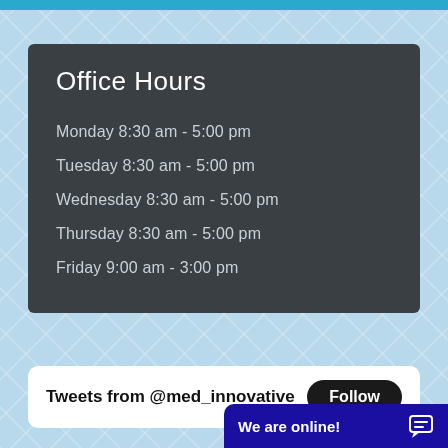Office Hours
Monday 8:30 am - 5:00 pm
Tuesday 8:30 am - 5:00 pm
Wednesday 8:30 am - 5:00 pm
Thursday 8:30 am - 5:00 pm
Friday 9:00 am - 3:00 pm
Tweets from @med_innovative
We are online!